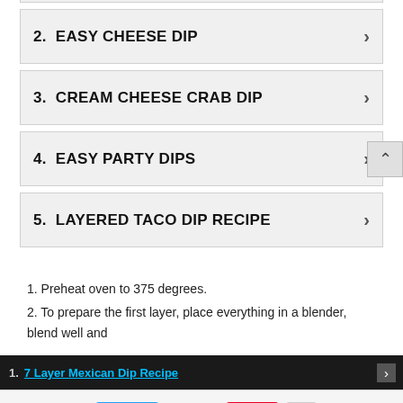1.  7 LAYER MEXICAN DIP RECIPE
2.  EASY CHEESE DIP
3.  CREAM CHEESE CRAB DIP
4.  EASY PARTY DIPS
5.  LAYERED TACO DIP RECIPE
1. Preheat oven to 375 degrees.
2. To prepare the first layer, place everything in a blender, blend well and
1.  7 Layer Mexican Dip Recipe   Easy Chee...   Tweet   Save   996